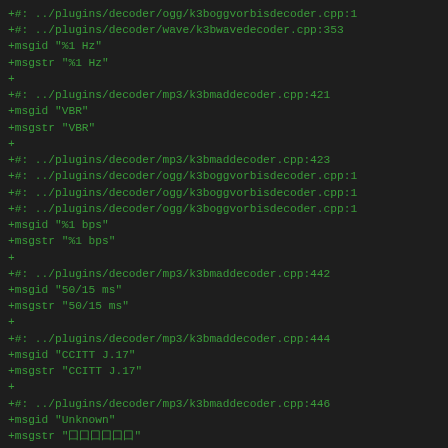+#: ../plugins/decoder/ogg/k3boggvorbisdecoder.cpp:1
+#: ../plugins/decoder/wave/k3bwavedecoder.cpp:353
+msgid "%1 Hz"
+msgstr "%1 Hz"
+
+#: ../plugins/decoder/mp3/k3bmaddecoder.cpp:421
+msgid "VBR"
+msgstr "VBR"
+
+#: ../plugins/decoder/mp3/k3bmaddecoder.cpp:423
+#: ../plugins/decoder/ogg/k3boggvorbisdecoder.cpp:1
+#: ../plugins/decoder/ogg/k3boggvorbisdecoder.cpp:1
+#: ../plugins/decoder/ogg/k3boggvorbisdecoder.cpp:1
+msgid "%1 bps"
+msgstr "%1 bps"
+
+#: ../plugins/decoder/mp3/k3bmaddecoder.cpp:442
+msgid "50/15 ms"
+msgstr "50/15 ms"
+
+#: ../plugins/decoder/mp3/k3bmaddecoder.cpp:444
+msgid "CCITT J.17"
+msgstr "CCITT J.17"
+
+#: ../plugins/decoder/mp3/k3bmaddecoder.cpp:446
+msgid "Unknown"
+msgstr "囗囗囗囗囗囗"
+
+#: ../plugins/decoder/ogg/k3boggvorbisdecoder.cpp:1
+msgid "Bitrate Upper"